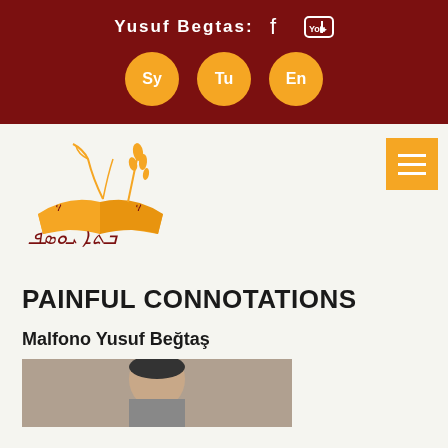Yusuf Begtas:  [Facebook] [YouTube]  Sy  Tu  En
[Figure (logo): Orange and gold Syriac script logo with open book and wheat stalk illustration, with Syriac text below]
[Figure (other): Orange hamburger/menu button in upper right corner]
PAINFUL CONNOTATIONS
Malfono Yusuf Beğtaş
[Figure (photo): Partial photo of a person at the bottom of the page]